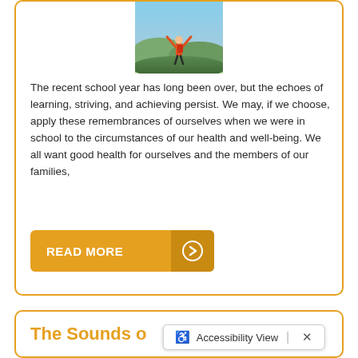[Figure (photo): Person with arms raised triumphantly on a hilltop with a red backpack, overlooking mountains and sky]
The recent school year has long been over, but the echoes of learning, striving, and achieving persist. We may, if we choose, apply these remembrances of ourselves when we were in school to the circumstances of our health and well-being. We all want good health for ourselves and the members of our families,
READ MORE →
The Sounds o
♿ Accessibility View ✕